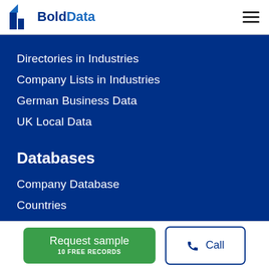BoldData
Directories in Industries
Company Lists in Industries
German Business Data
UK Local Data
Databases
Company Database
Countries
Data Specials
Request sample 10 FREE RECORDS
Call